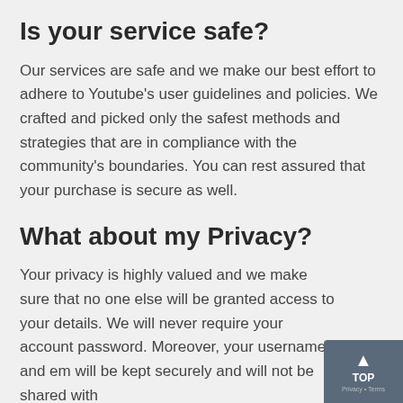Is your service safe?
Our services are safe and we make our best effort to adhere to Youtube’s user guidelines and policies. We crafted and picked only the safest methods and strategies that are in compliance with the community’s boundaries. You can rest assured that your purchase is secure as well.
What about my Privacy?
Your privacy is highly valued and we make sure that no one else will be granted access to your details. We will never require your account password. Moreover, your username and em… will be kept securely and will not be shared with…